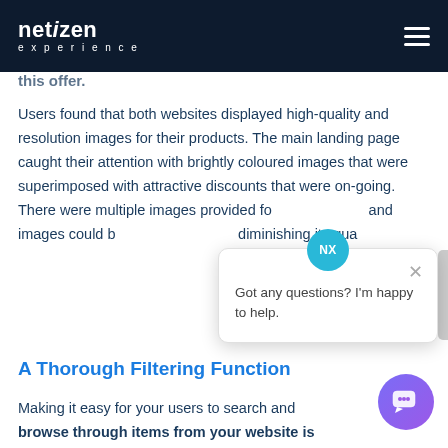netizen experience
this offer
Users found that both websites displayed high-quality and resolution images for their products. The main landing page caught their attention with brightly coloured images that were superimposed with attractive discounts that were on-going. There were multiple images provided fo... and images could b... diminishing its qua...
A Thorough Filtering Function
Making it easy for your users to search and browse through items from your website is